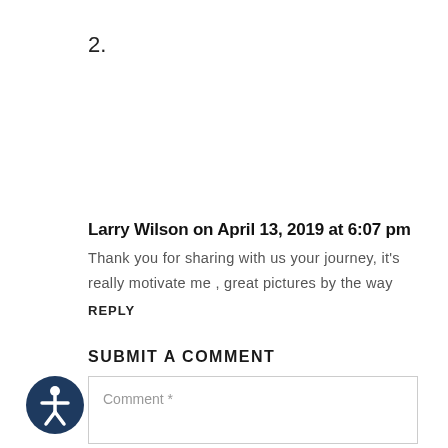2.
Larry Wilson on April 13, 2019 at 6:07 pm
Thank you for sharing with us your journey, it's really motivate me , great pictures by the way
REPLY
SUBMIT A COMMENT
Comment *
[Figure (illustration): Circular dark blue accessibility icon with a white human figure (universal accessibility symbol)]